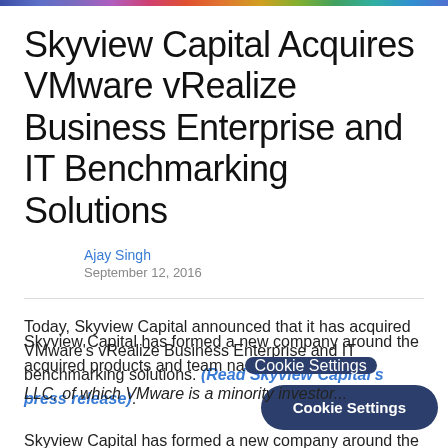Skyview Capital Acquires VMware vRealize Business Enterprise and IT Benchmarking Solutions
Ajay Singh
September 12, 2016
Today, Skyview Capital announced that it has acquired VMware's vRealize Business Enterprise and IT benchmarking solutions. (Read Skyview Capital's press release).
Skyview Capital has formed a new company around the acquired products and team na... LLC, of which VMware is a minority investor...